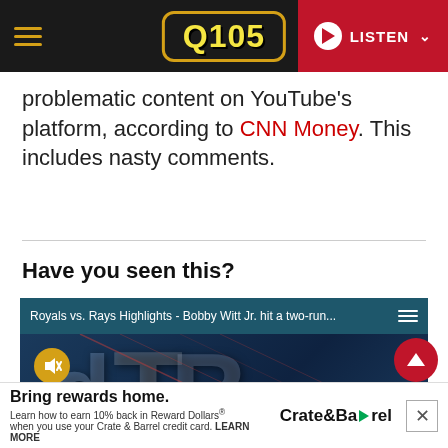Q105 — LISTEN
problematic content on YouTube's platform, according to CNN Money. This includes nasty comments.
Have you seen this?
[Figure (screenshot): Embedded video player showing 'Royals vs. Rays Highlights - Bobby Witt Jr. hit a two-run...' with a dark blue background featuring large white letters and a muted/unmute button. A red scroll-to-top button appears at lower right.]
Bring rewards home. Crate&Barrel — Learn how to earn 10% back in Reward Dollars® when you use your Crate & Barrel credit card. LEARN MORE